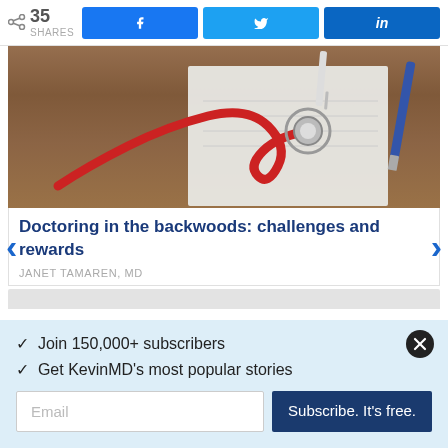35 SHARES
[Figure (photo): Photo of a red stethoscope lying on a notepad on a wooden table, with a pen and syringe visible in the background]
Doctoring in the backwoods: challenges and rewards
JANET TAMAREN, MD
✓  Join 150,000+ subscribers
✓  Get KevinMD's most popular stories
Email
Subscribe. It's free.